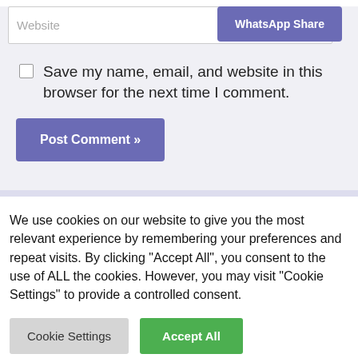Website
WhatsApp Share
Save my name, email, and website in this browser for the next time I comment.
Post Comment »
We use cookies on our website to give you the most relevant experience by remembering your preferences and repeat visits. By clicking “Accept All”, you consent to the use of ALL the cookies. However, you may visit "Cookie Settings" to provide a controlled consent.
Cookie Settings
Accept All